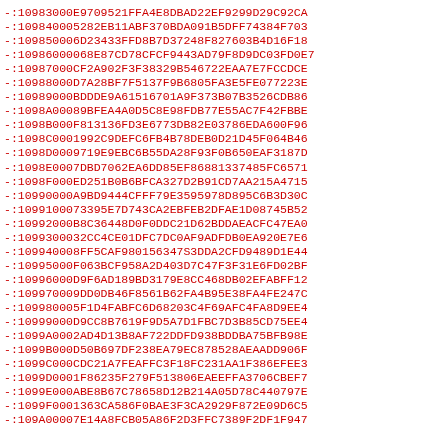-:10983000E9709521FFA4E8DBAD22EF9299D29C92CA
-:10984000S282EB11ABF370BDA091B5DFF74384F703
-:10985000SD23433FFD8B7D37248F827603B4D16F18
-:10986000S8E87CD78CFCF9443AD79F8D9DC03FD0E7
-:10987000CF2A902F3F38329B546722EAA7E7FCCDCE
-:10988000D7A28BF7F5137F9B6805FA3E5FE077223E
-:10989000BDDDE9A61516701A9F373B07B3526CDB86
-:1098A00089BFEA4A0D5C8E98FDB77E55AC7F42FBBE
-:1098B000F813136FD3E6773DB82E03786EDA600F96
-:1098C0001992C9DEFC6FB4B78DEB0D21D45F064B46
-:1098D0009719E9EBC6B55DA28F93F0B650EAF3187D
-:1098E0007DBD7062EA6DD85EF86881337485FC6571
-:1098F000ED251B0B6BFCA327D2B91CD7AA215A4715
-:10990000A9BD9444CFFF79E3595978D895C6B3D30C
-:10991000S3395E7D743CA2EBFEB2DFAE1D08745B52
-:10992000B8C36448D0F0DDC21D62BDDAEACFC47EA0
-:10993000S2CC4CE01DFC7DC0AF9ADFDB0EA920E7E6
-:10994000SFF5CAF980156347S3DDA2CFD9489D1E44
-:10995000F063BCF958A2D403D7C47F3F31E6FD02BF
-:10996000D9F6AD189BD3179E8CC468DB02EFABFF12
-:10997000S9DD0DB46F8561B62FA4B95E38FA4FE247C
-:10998000SF1D4FABFC6D68203C4F69AFC4FA8D9EE4
-:10999000D9CC8B7619F9D5A7D1FBC7D3B85CD75EE4
-:1099A0002AD4D13B8AF722DDFD938BDDBA75BFB98E
-:1099B000D50B697DF238EA79EC878528AEAADD906F
-:1099C000CDC21A7FEAFFC3F18FC231AA1F386EFEE3
-:1099D0001F86235F279F513806EAEEFFA3706CBEF7
-:1099E000ABE8B67C78658D12B214A05D78C440797E
-:1099F0001363CA586F0BAE3F3CA2929F872E09D6C5
-:109A00007E14A8FCB05A86F2D3FFC7389F2DF1F947